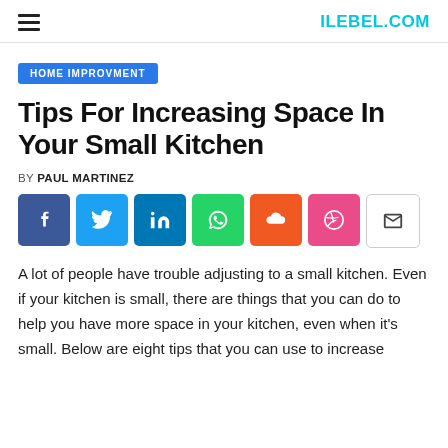ILEBEL.COM
HOME IMPROVMENT
Tips For Increasing Space In Your Small Kitchen
BY PAUL MARTINEZ
[Figure (infographic): Social sharing buttons: Facebook, Twitter, LinkedIn, WhatsApp, Cloud/Orange, Dribbble, Email]
A lot of people have trouble adjusting to a small kitchen. Even if your kitchen is small, there are things that you can do to help you have more space in your kitchen, even when it's small. Below are eight tips that you can use to increase